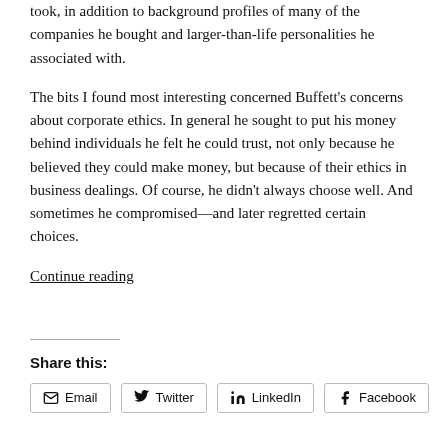took, in addition to background profiles of many of the companies he bought and larger-than-life personalities he associated with.
The bits I found most interesting concerned Buffett's concerns about corporate ethics. In general he sought to put his money behind individuals he felt he could trust, not only because he believed they could make money, but because of their ethics in business dealings. Of course, he didn't always choose well. And sometimes he compromised—and later regretted certain choices.
Continue reading
Share this:
Email  Twitter  LinkedIn  Facebook